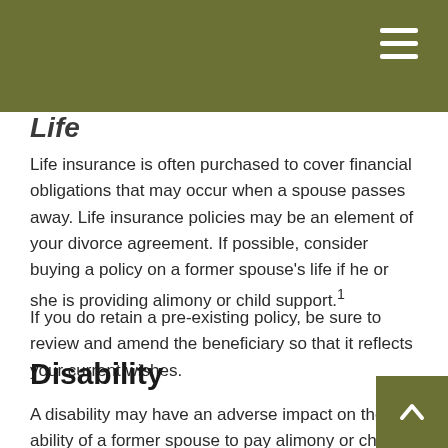Life
Life insurance is often purchased to cover financial obligations that may occur when a spouse passes away. Life insurance policies may be an element of your divorce agreement. If possible, consider buying a policy on a former spouse's life if he or she is providing alimony or child support.¹
If you do retain a pre-existing policy, be sure to review and amend the beneficiary so that it reflects your current wishes.
Disability
A disability may have an adverse impact on the ability of a former spouse to pay alimony or child support. As such, you may want to include the maintenance of such a policy